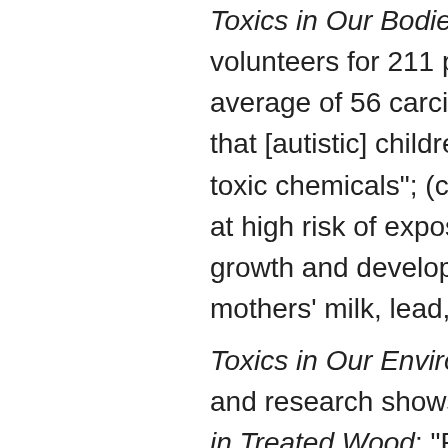Toxics in Our Bodies: (a) BodyBurden volunteers for 211 possible cont... average of 56 carcinogens in ea... that [autistic] children are more toxic chemicals"; (c) Toxics and ... at high risk of exposure to man... growth and development: pest... mothers' milk, lead, mercury, ai...
Toxics in Our Environment: (a) A... and research shows a strong lin... in Treated Wood: "Pressure-tre... rot, ... leaches from wooden pla... children's skin and clothing"; (c)...